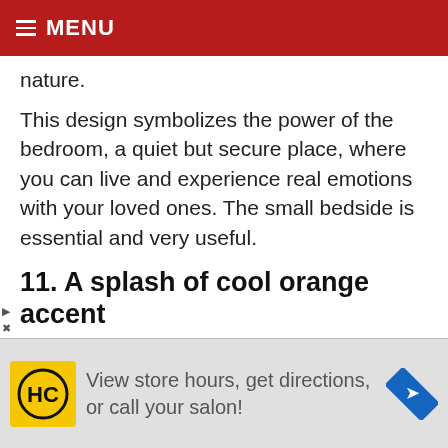≡ MENU
nature.
This design symbolizes the power of the bedroom, a quiet but secure place, where you can live and experience real emotions with your loved ones. The small bedside is essential and very useful.
11. A splash of cool orange accent
[Figure (photo): Image placeholder: A splash of cool orange by emily jagoda]
View store hours, get directions, or call your salon!